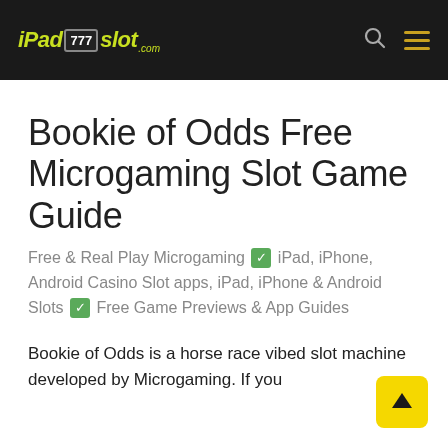iPad 777 slot .com
Bookie of Odds Free Microgaming Slot Game Guide
Free & Real Play Microgaming ✅ iPad, iPhone, Android Casino Slot apps, iPad, iPhone & Android Slots ✅ Free Game Previews & App Guides
Bookie of Odds is a horse race vibed slot machine developed by Microgaming. If you